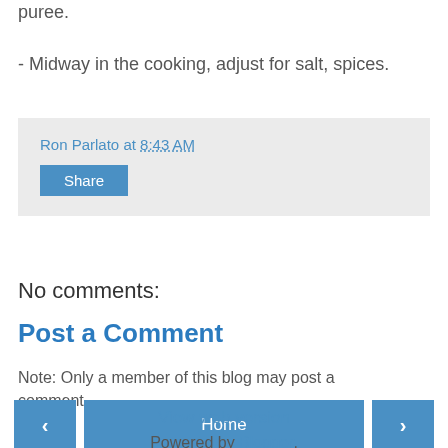puree.
- Midway in the cooking, adjust for salt, spices.
Ron Parlato at 8:43 AM
Share
No comments:
Post a Comment
Note: Only a member of this blog may post a comment.
Home
View web version
Powered by Blogger.